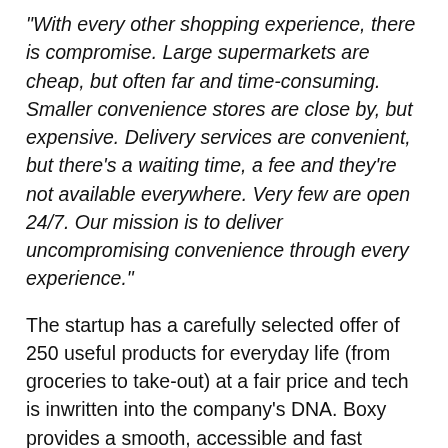“With every other shopping experience, there is compromise. Large supermarkets are cheap, but often far and time-consuming. Smaller convenience stores are close by, but expensive. Delivery services are convenient, but there’s a waiting time, a fee and they’re not available everywhere. Very few are open 24/7. Our mission is to deliver uncompromising convenience through every experience.”
The startup has a carefully selected offer of 250 useful products for everyday life (from groceries to take-out) at a fair price and tech is inwritten into the company’s DNA. Boxy provides a smooth, accessible and fast shopping experience – mastering the entire value chain (including data, logistics, goodwill and the network of outlets).
After downloading the Boxy application, entering your identity and registering your payment method, you can access the store (24 hours a day, 7 days a week) via QR code. Once